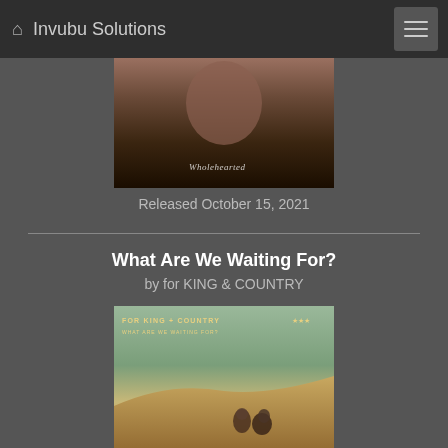Invubu Solutions
[Figure (photo): Album cover photo, partially visible, with cursive text reading 'Wholehearted' over a dark desert/landscape image]
Released October 15, 2021
What Are We Waiting For?
by for KING & COUNTRY
[Figure (photo): Album cover for 'What Are We Waiting For?' by For King + Country, showing two people sitting on a sand dune with a sage green sky, gold text reading FOR KING + COUNTRY and WHAT ARE WE WAITING FOR?]